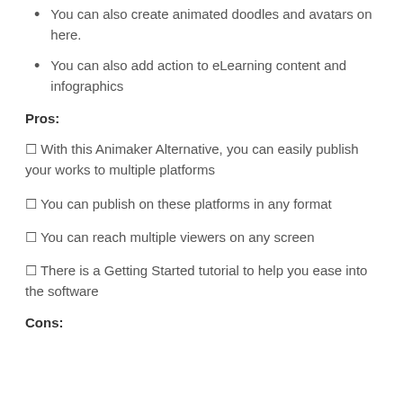You can also create animated doodles and avatars on here.
You can also add action to eLearning content and infographics
Pros:
✓ With this Animaker Alternative, you can easily publish your works to multiple platforms
✓ You can publish on these platforms in any format
✓ You can reach multiple viewers on any screen
✓ There is a Getting Started tutorial to help you ease into the software
Cons: